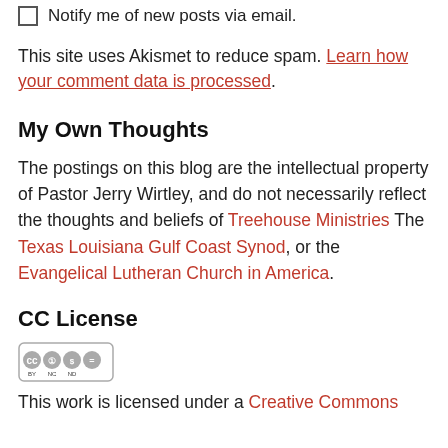Notify me of new posts via email.
This site uses Akismet to reduce spam. Learn how your comment data is processed.
My Own Thoughts
The postings on this blog are the intellectual property of Pastor Jerry Wirtley, and do not necessarily reflect the thoughts and beliefs of Treehouse Ministries The Texas Louisiana Gulf Coast Synod, or the Evangelical Lutheran Church in America.
CC License
[Figure (logo): Creative Commons BY NC ND license badge]
This work is licensed under a Creative Commons